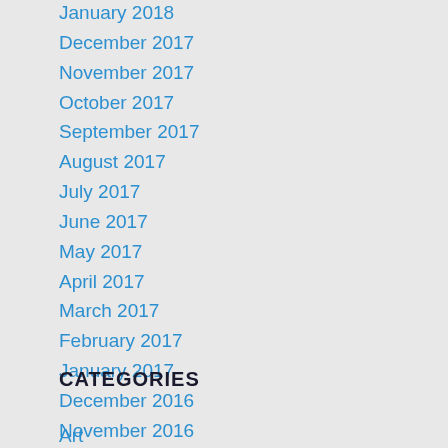January 2018
December 2017
November 2017
October 2017
September 2017
August 2017
July 2017
June 2017
May 2017
April 2017
March 2017
February 2017
January 2017
December 2016
November 2016
CATEGORIES
Art